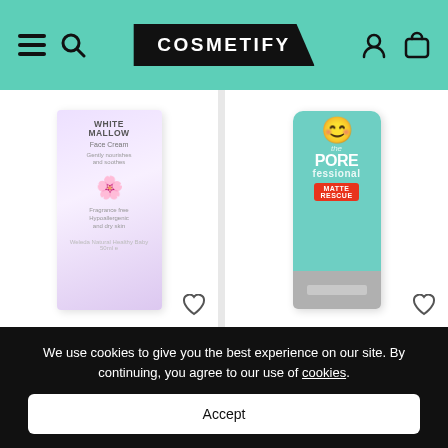COSMETIFY
[Figure (photo): Weleda Baby Derma White Mallow Face Cream product box, white/purple packaging with butterfly design]
Weleda
Baby Derma White Mallow Face Cream
£10.35 £11.50
[Figure (photo): Benefit The POREfessional Matte Rescue Gel tube, teal/silver packaging with illustrated face]
Benefit
The POREfessional Matte Rescue Gel
£10.00 £12.50
We use cookies to give you the best experience on our site. By continuing, you agree to our use of cookies.
Accept